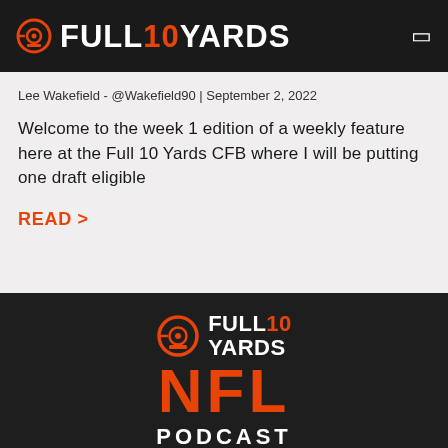FULL10YARDS
Lee Wakefield - @Wakefield90 | September 2, 2022
Welcome to the week 1 edition of a weekly feature here at the Full 10 Yards CFB where I will be putting one draft eligible
READ >
[Figure (logo): Full 10 Yards NFL Podcast logo — target/crosshair icon, text FULL10 YARDS in white with 10 in orange, large NFL in orange, PODCAST in white below]